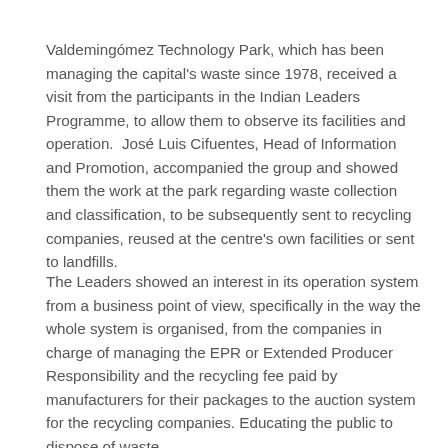Valdemingómez Technology Park, which has been managing the capital's waste since 1978, received a visit from the participants in the Indian Leaders Programme, to allow them to observe its facilities and operation.  José Luis Cifuentes, Head of Information and Promotion, accompanied the group and showed them the work at the park regarding waste collection and classification, to be subsequently sent to recycling companies, reused at the centre's own facilities or sent to landfills.
The Leaders showed an interest in its operation system from a business point of view, specifically in the way the whole system is organised, from the companies in charge of managing the EPR or Extended Producer Responsibility and the recycling fee paid by manufacturers for their packages to the auction system for the recycling companies. Educating the public to dispose of waste